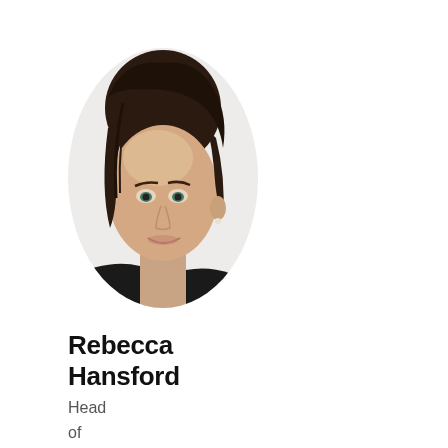[Figure (photo): Oval-cropped headshot of a woman with dark hair pulled back, wearing a black top, smiling slightly, photographed against a white background.]
Rebecca Hansford
Head of Media